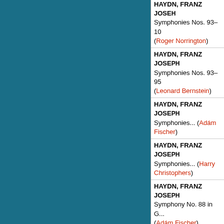HAYDN, FRANZ JOSEPH Symphonies Nos. 93–10... (Roger Norrington)
HAYDN, FRANZ JOSEPH Symphonies Nos. 93–95 (Leonard Bernstein)
HAYDN, FRANZ JOSEPH Symphonies... (Adám Fischer)
HAYDN, FRANZ JOSEPH Symphonies... (Harry Christophers)
HAYDN, FRANZ JOSEPH Symphony No. 88 in G... (Adám Fischer)
HAYDN, FRANZ JOSEPH The Creation (Colin Davi...)
HAYDN, FRANZ JOSEPH The Creation (Ivor Bolton...)
HAYDN, FRANZ JOSEPH The Creation (Martin Pearlman)
HAYDN, FRANZ JOSEPH The Creation (Martin Pearlman)
HAYDN, FRANZ JOSE...